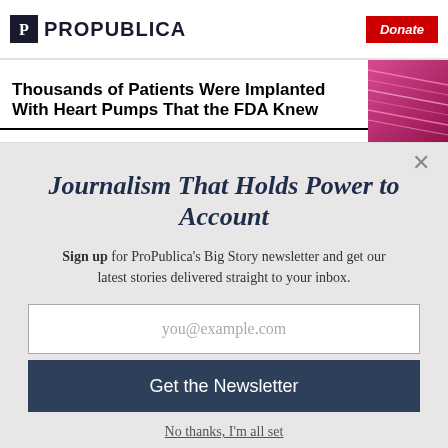ProPublica | Donate
Thousands of Patients Were Implanted With Heart Pumps That the FDA Knew
Journalism That Holds Power to Account
Sign up for ProPublica's Big Story newsletter and get our latest stories delivered straight to your inbox.
you@example.com
Get the Newsletter
No thanks, I'm all set
This site is protected by reCAPTCHA and the Google Privacy Policy and Terms of Service apply.